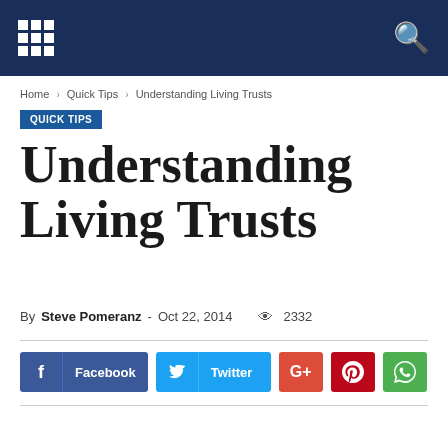Understanding Living Trusts - navigation header with grid menu icon and search icon
Home › Quick Tips › Understanding Living Trusts
QUICK TIPS
Understanding Living Trusts
By Steve Pomeranz - Oct 22, 2014  👁 2332
[Figure (infographic): Social sharing buttons: Facebook, Twitter, Google+, Pinterest, WhatsApp]